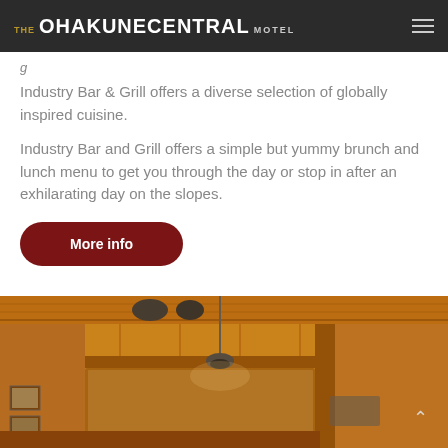THE OHAKUNECENTRAL MOTEL
Industry Bar & Grill offers a diverse selection of globally inspired cuisine.
Industry Bar and Grill offers a simple but yummy brunch and lunch menu to get you through the day or stop in after an exhilarating day on the slopes.
More info
[Figure (photo): Interior photo of a rustic wooden bar with warm lighting, ceiling fans, framed pictures on walls, and wooden structural beams. Warm amber tones throughout.]